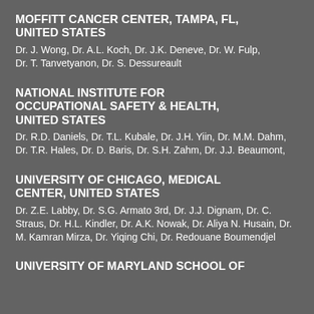MOFFITT CANCER CENTER, TAMPA, FL, UNITED STATES
Dr. J. Wong, Dr. A.L. Koch, Dr. J.K. Deneve, Dr. W. Fulp, Dr. T. Tanvetyanon, Dr. S. Dessureault
NATIONAL INSTITUTE FOR OCCUPATIONAL SAFETY & HEALTH, UNITED STATES
Dr. R.D. Daniels, Dr. T.L. Kubale, Dr. J.H. Yiin, Dr. M.M. Dahm, Dr. T.R. Hales, Dr. D. Baris, Dr. S.H. Zahm, Dr. J.J. Beaumont,
UNIVERSITY OF CHICAGO, MEDICAL CENTER, UNITED STATES
Dr. Z.E. Labby, Dr. S.G. Armato 3rd, Dr. J.J. Dignam, Dr. C. Straus, Dr. H.L. Kindler, Dr. A.K. Nowak, Dr. Aliya N. Husain, Dr. M. Kamran Mirza, Dr. Yiqing Chi, Dr. Redouane Boumendjel
UNIVERSITY OF MARYLAND SCHOOL OF